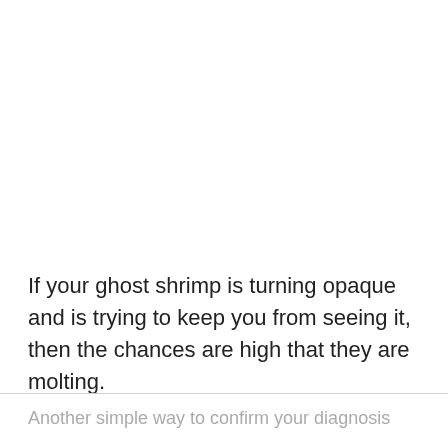If your ghost shrimp is turning opaque and is trying to keep you from seeing it, then the chances are high that they are molting.
Another simple way to confirm your diagnosis